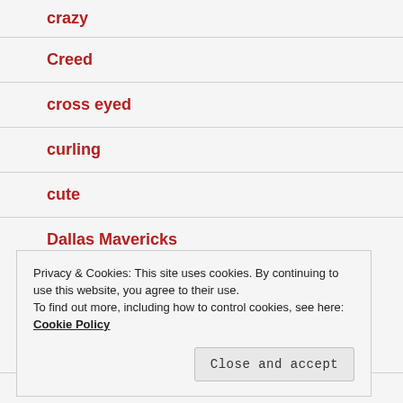crazy
Creed
cross eyed
curling
cute
Dallas Mavericks
Privacy & Cookies: This site uses cookies. By continuing to use this website, you agree to their use.
To find out more, including how to control cookies, see here: Cookie Policy
Close and accept
Danny Rodner